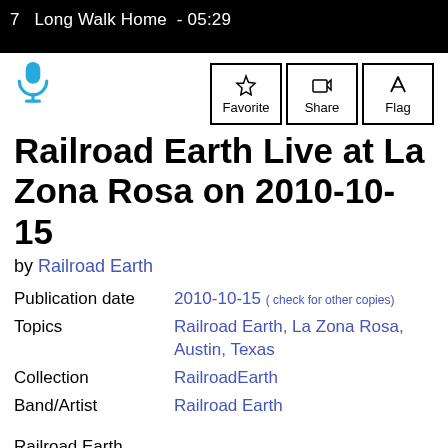7  Long Walk Home  - 05:29
by Railroad Earth
Railroad Earth Live at La Zona Rosa on 2010-10-15
| Field | Value |
| --- | --- |
| Publication date | 2010-10-15 ( check for other copies) |
| Topics | Railroad Earth, La Zona Rosa, Austin, Texas |
| Collection | RailroadEarth |
| Band/Artist | Railroad Earth |
Railroad Earth
10/15/2010
La Zona Rosa
Austin, TX